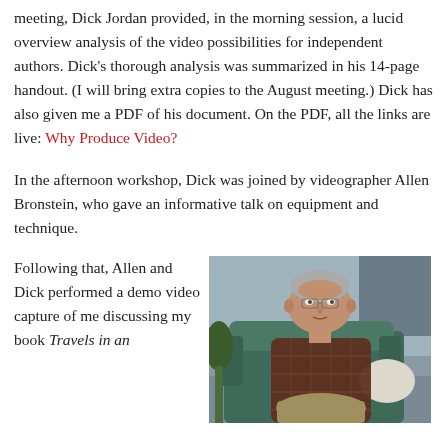meeting, Dick Jordan provided, in the morning session, a lucid overview analysis of the video possibilities for independent authors. Dick's thorough analysis was summarized in his 14-page handout. (I will bring extra copies to the August meeting.) Dick has also given me a PDF of his document. On the PDF, all the links are live: Why Produce Video?
In the afternoon workshop, Dick was joined by videographer Allen Bronstein, who gave an informative talk on equipment and technique.
Following that, Allen and Dick performed a demo video capture of me discussing my book Travels in an
[Figure (photo): A man with gray hair wearing a plaid shirt seated in a teal/green chair, with a white cushion beside him and a plant in the background.]